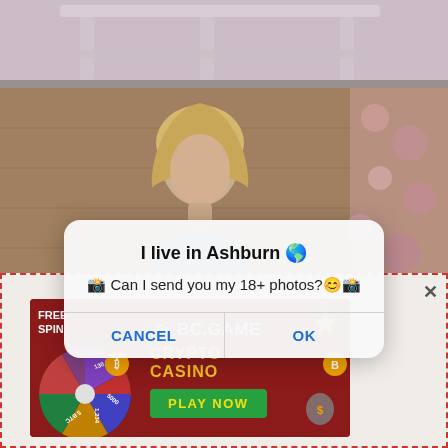[Figure (screenshot): Top portion of photo showing chair legs against a light background]
[Figure (photo): Portrait photo of a blonde woman in a room with wooden walls and floral curtain]
[Figure (screenshot): Mobile dialog box overlay with title 'I live in Ashburn' and message asking to send 18+ photos, with CANCEL and OK buttons]
[Figure (screenshot): BC.GAME Crypto Casino advertisement banner with FREE SPIN wheel, logo, and PLAY NOW button, inside a dashed red border popup]